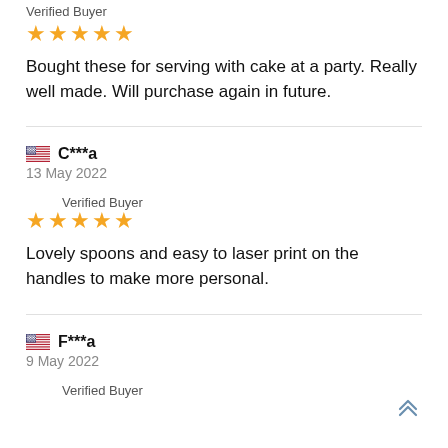Verified Buyer
★★★★★
Bought these for serving with cake at a party. Really well made. Will purchase again in future.
C***a
13 May 2022
Verified Buyer
★★★★★
Lovely spoons and easy to laser print on the handles to make more personal.
F***a
9 May 2022
Verified Buyer